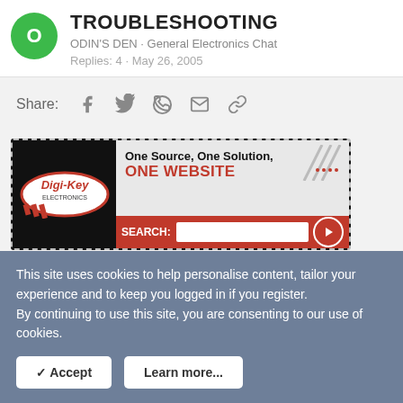TROUBLESHOOTING
ODIN'S DEN · General Electronics Chat
Replies: 4 · May 26, 2005
Share:
[Figure (infographic): Digi-Key Electronics advertisement banner: One Source, One Solution, ONE WEBSITE with search bar]
Latest Threads
Blown My Charger
This site uses cookies to help personalise content, tailor your experience and to keep you logged in if you register. By continuing to use this site, you are consenting to our use of cookies.